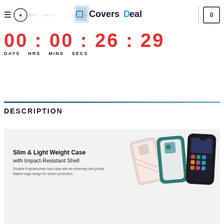Covers Deal — navigation header with hamburger, search, logo, and cart (0 items)
00 : 00 : 26 : 29 — DAYS HRS MINS SECS countdown timer
DESCRIPTION
[Figure (photo): Product photo showing phone cases — Slim & Light Weight Case with Impact-Resistant Shell. Durable Polycarbonate hard case with an extremely slim profile. Raised edge design for screen protection. Three phone cases displayed at angles.]